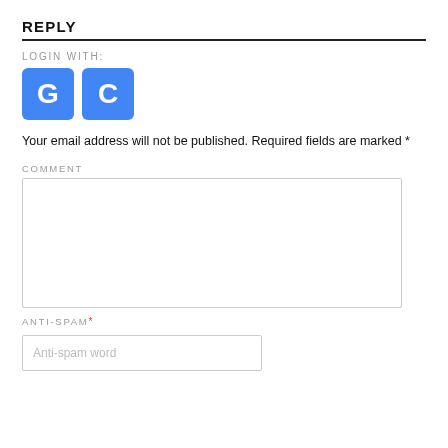REPLY
LOGIN WITH:
[Figure (other): Two blue square login buttons with letters G and C]
Your email address will not be published. Required fields are marked *
COMMENT
[Figure (other): Comment text area input box]
ANTI-SPAM*
[Figure (other): Anti-spam word input field with placeholder text 'Anti-spam word']